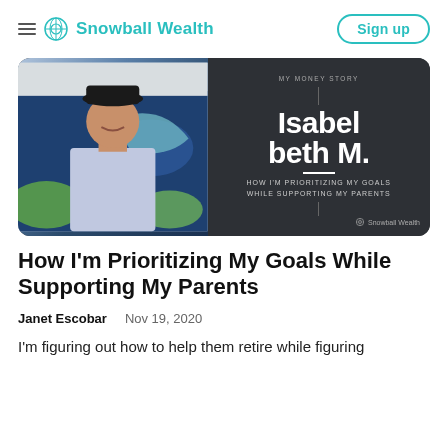Snowball Wealth
[Figure (photo): Hero banner showing a woman smiling wearing a black hat and light purple shirt against a graffiti wall background, with a dark panel showing 'MY MONEY STORY' and 'Isabella M.' and 'HOW I'M PRIORITIZING MY GOALS WHILE SUPPORTING MY PARENTS' and Snowball Wealth branding]
How I'm Prioritizing My Goals While Supporting My Parents
Janet Escobar   Nov 19, 2020
I'm figuring out how to help them retire while figuring